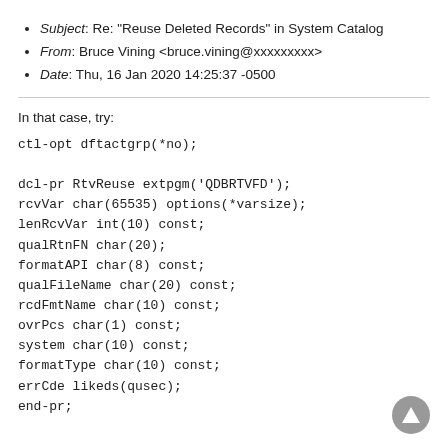Subject: Re: "Reuse Deleted Records" in System Catalog
From: Bruce Vining <bruce.vining@xxxxxxxxx>
Date: Thu, 16 Jan 2020 14:25:37 -0500
In that case, try:
ctl-opt dftactgrp(*no);

dcl-pr RtvReuse extpgm('QDBRTVFD');
rcvVar char(65535) options(*varsize);
lenRcvVar int(10) const;
qualRtnFN char(20);
formatAPI char(8) const;
qualFileName char(20) const;
rcdFmtName char(10) const;
ovrPcs char(1) const;
system char(10) const;
formatType char(10) const;
errCde likeds(qusec);
end-pr;